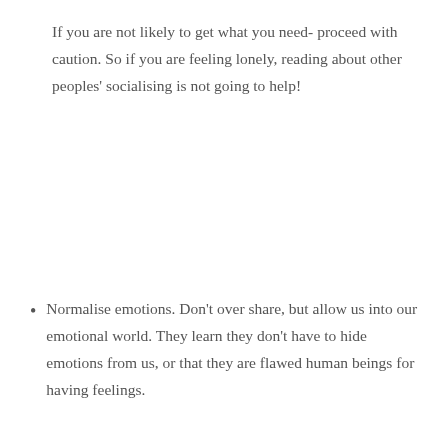If you are not likely to get what you need- proceed with caution. So if you are feeling lonely, reading about other peoples' socialising is not going to help!
Normalise emotions. Don't over share, but allow us into our emotional world. They learn they don't have to hide emotions from us, or that they are flawed human beings for having feelings.